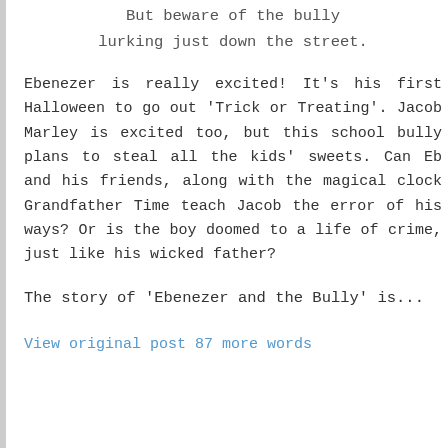But beware of the bully
lurking just down the street.
Ebenezer is really excited! It's his first Halloween to go out 'Trick or Treating'. Jacob Marley is excited too, but this school bully plans to steal all the kids' sweets. Can Eb and his friends, along with the magical clock Grandfather Time teach Jacob the error of his ways? Or is the boy doomed to a life of crime, just like his wicked father?
The story of 'Ebenezer and the Bully' is...
View original post 87 more words